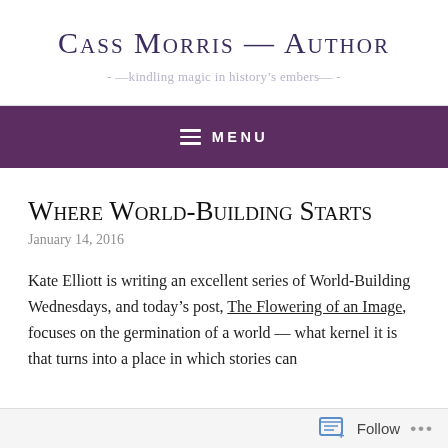Cass Morris — Author
- —kindling magic in history's embers— -
☰ MENU
Where World-Building Starts
January 14, 2016
Kate Elliott is writing an excellent series of World-Building Wednesdays, and today's post, The Flowering of an Image, focuses on the germination of a world — what kernel it is that turns into a place in which stories can
Follow ...